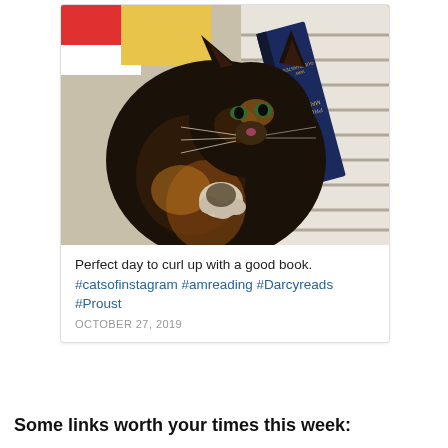[Figure (photo): A tortoiseshell cat lying on its back on a striped pillow or bed, next to a dark book with 'Marcel Proust' visible on the spine, surrounded by colorful fabric.]
Perfect day to curl up with a good book. #catsofinstagram #amreading #Darcyreads #Proust
OCTOBER 27, 2019
Some links worth your times this week: